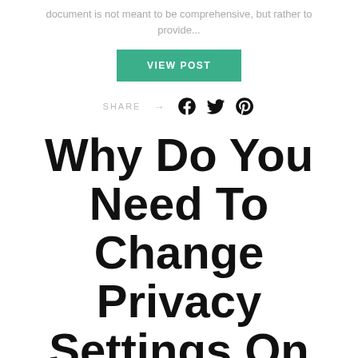document is not meant to be comprehensive, but rather to provide...
VIEW POST
SHARE →
Why Do You Need To Change Privacy Settings On Facebook